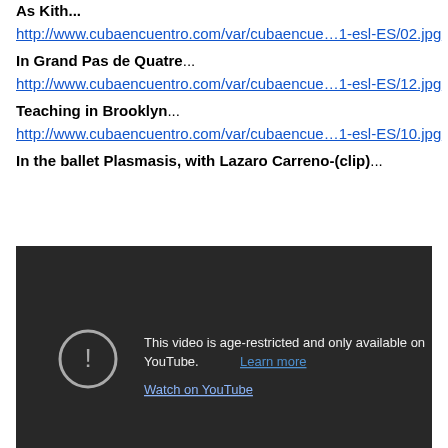As Kith...
http://www.cubaencuentro.com/var/cubaencue…1-esl-ES/02.jpg
In Grand Pas de Quatre...
http://www.cubaencuentro.com/var/cubaencue…1-esl-ES/12.jpg
Teaching in Brooklyn...
http://www.cubaencuentro.com/var/cubaencue…1-esl-ES/10.jpg
In the ballet Plasmasis, with Lazaro Carreno-(clip)...
[Figure (screenshot): Embedded YouTube video player showing age-restricted message: 'This video is age-restricted and only available on YouTube. Learn more' and 'Watch on YouTube' link, on a dark background.]